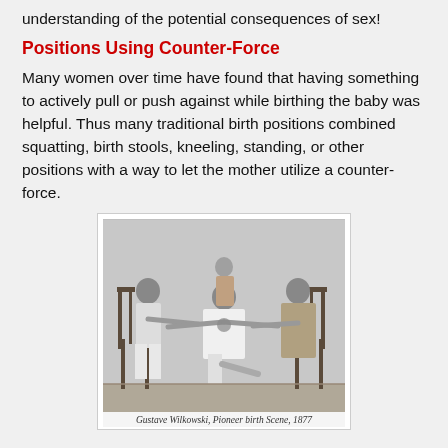understanding of the potential consequences of sex!
Positions Using Counter-Force
Many women over time have found that having something to actively pull or push against while birthing the baby was helpful. Thus many traditional birth positions combined squatting, birth stools, kneeling, standing, or other positions with a way to let the mother utilize a counter-force.
[Figure (illustration): Historical engraving of a pioneer birth scene showing women in labor with attendants, chairs used for counter-force support. Gustave Wilkowski, Pioneer birth Scene, 1877.]
Gustave Wilkowski, Pioneer birth Scene, 1877